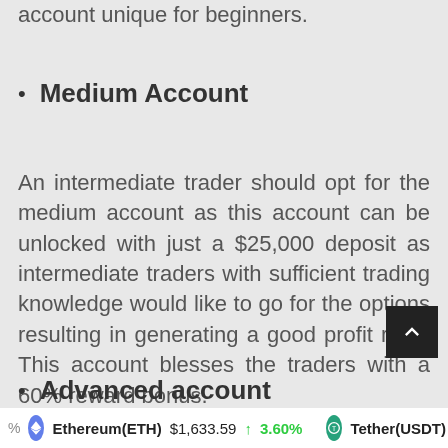account unique for beginners.
Medium Account
An intermediate trader should opt for the medium account as this account can be unlocked with just a $25,000 deposit as intermediate traders with sufficient trading knowledge would like to go for the options resulting in generating a good profit ratio. This account blesses the traders with a 60% reward bonus.
Advanced account
Ethereum(ETH) $1,633.59 ↑ 3.60%   Tether(USDT) $1.00